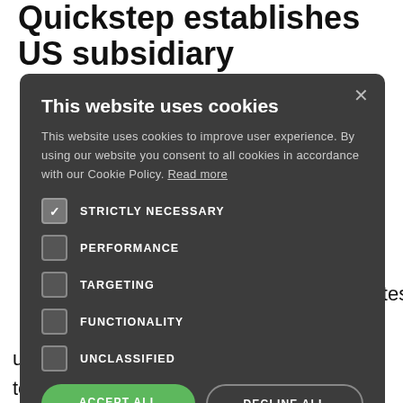Quickstep establishes US subsidiary
Composites xisting North
[Figure (screenshot): Cookie consent modal dialog with dark background. Title: 'This website uses cookies'. Body text explaining cookie usage with a 'Read more' link. Five checkbox options: STRICTLY NECESSARY (checked), PERFORMANCE (unchecked), TARGETING (unchecked), FUNCTIONALITY (unchecked), UNCLASSIFIED (unchecked). Two buttons: ACCEPT ALL (green) and DECLINE ALL (outlined). Show Details link at bottom.]
en ny and has been
ubsidiary in the USA will enable Quickstep to deal directly with